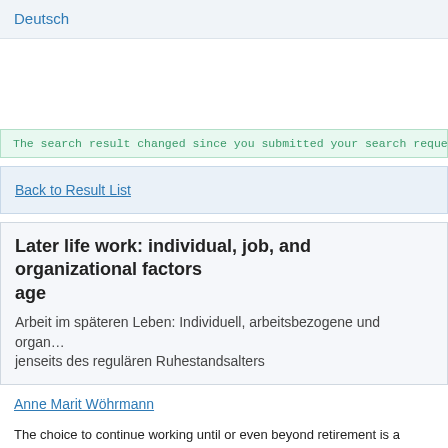Deutsch
The search result changed since you submitted your search request.
Back to Result List
Later life work: individual, job, and organizational factors age
Arbeit im späteren Leben: Individuell, arbeitsbezogene und organisationale Faktoren jenseits des regulären Ruhestandsalters
Anne Marit Wöhrmann
The choice to continue working until or even beyond retirement is a function of the interplay of factors on micro, meso, and macro levels. Research within this field has grown significantly over the last years. I contribute to this line of research through four studies conducted within the scope of this cumulative habilitation thesis. More specifically, the aim of the research presented here is to add to the literature